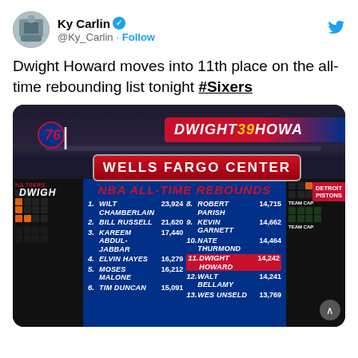[Figure (screenshot): Tweet by Ky Carlin (@Ky_Carlin) with verified badge and Follow button, showing text about Dwight Howard moving into 11th place on NBA all-time rebounding list with hashtag #Sixers, and an embedded photo of the Wells Fargo Center scoreboard showing NBA ALL-TIME REBOUNDS list]
Ky Carlin @Ky_Carlin · Follow
Dwight Howard moves into 11th place on the all-time rebounding list tonight #Sixers
[Figure (photo): Photo of Wells Fargo Center arena scoreboard showing NBA ALL-TIME REBOUNDS list: 1. Wilt Chamberlain 23,924 | 2. Bill Russell 21,620 | 3. Kareem Abdul-Jabbar 17,440 | 4. Elvin Hayes 16,279 | 5. Moses Malone 16,212 | 6. Tim Duncan 15,091 | 8. Robert Parish 14,715 | 9. Kevin Garnett 14,662 | 10. Nate Thurmond 14,464 | 11. Dwight Howard 14,242 (highlighted in red) | 12. Walt Bellamy 14,241 | 13. Wes Unseld 13,769. Also shows DWIGHT 39 HOWARD banner and Wells Fargo Center sign. Detroit Pistons visible on right side.]